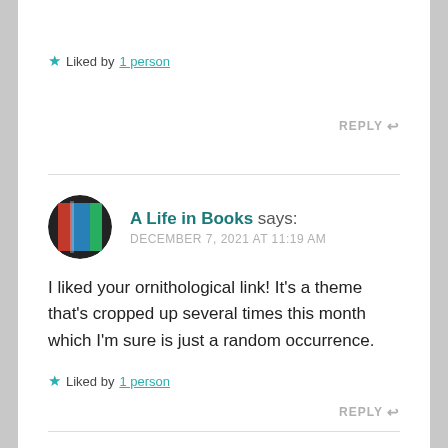★ Liked by 1 person
REPLY ↩
A Life in Books says:
DECEMBER 7, 2021 AT 11:19 AM
I liked your ornithological link! It's a theme that's cropped up several times this month which I'm sure is just a random occurrence.
★ Liked by 1 person
REPLY ↩